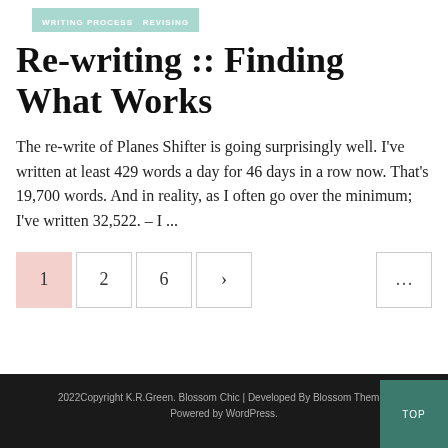WRITING PROCESS   REVISING
Re-writing :: Finding What Works
The re-write of Planes Shifter is going surprisingly well. I've written at least 429 words a day for 46 days in a row now. That's 19,700 words. And in reality, as I often go over the minimum; I've written 32,522. – I …
1  2  6  >  ...
2022Copyright K.R.Green. Blossom Chic | Developed By Blossom Themes Powered by WordPress.